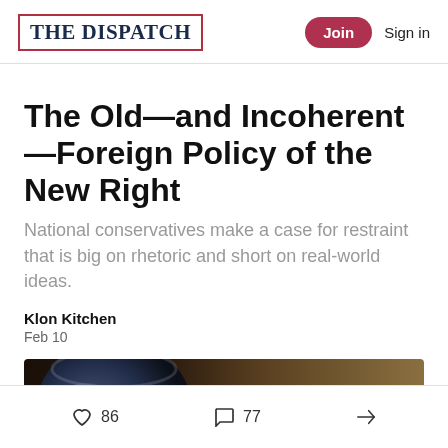The Dispatch | Join | Sign in
The Old—and Incoherent—Foreign Policy of the New Right
National conservatives make a case for restraint that is big on rhetoric and short on real-world ideas.
Klon Kitchen
Feb 10
[Figure (photo): Partial close-up photo of a globe against a warm brown background]
86 likes  77 comments  share